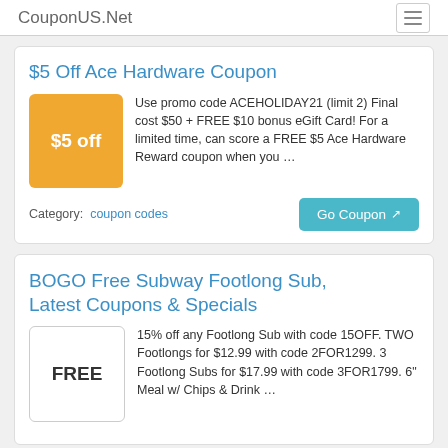CouponUS.Net
$5 Off Ace Hardware Coupon
Use promo code ACEHOLIDAY21 (limit 2) Final cost $50 + FREE $10 bonus eGift Card! For a limited time, can score a FREE $5 Ace Hardware Reward coupon when you …
Category: coupon codes
BOGO Free Subway Footlong Sub, Latest Coupons & Specials
15% off any Footlong Sub with code 15OFF. TWO Footlongs for $12.99 with code 2FOR1299. 3 Footlong Subs for $17.99 with code 3FOR1799. 6" Meal w/ Chips & Drink …